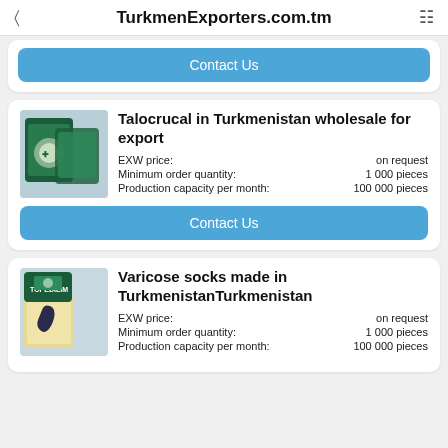TurkmenExporters.com.tm
Contact Us
Talocrucal in Turkmenistan wholesale for export
EXW price: on request
Minimum order quantity: 1 000 pieces
Production capacity per month: 100 000 pieces
Contact Us
Varicose socks made in TurkmenistanTurkmenistan
EXW price: on request
Minimum order quantity: 1 000 pieces
Production capacity per month: 100 000 pieces